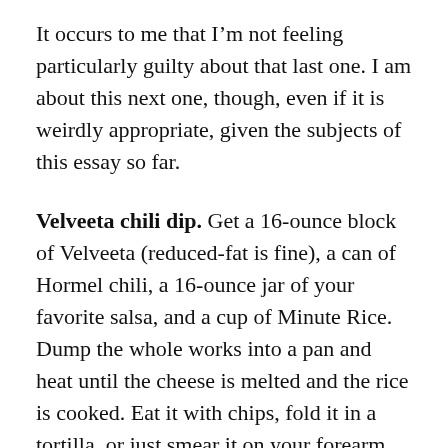It occurs to me that I'm not feeling particularly guilty about that last one. I am about this next one, though, even if it is weirdly appropriate, given the subjects of this essay so far.
Velveeta chili dip. Get a 16-ounce block of Velveeta (reduced-fat is fine), a can of Hormel chili, a 16-ounce jar of your favorite salsa, and a cup of Minute Rice. Dump the whole works into a pan and heat until the cheese is melted and the rice is cooked. Eat it with chips, fold it in a tortilla, or just smear it on your forearm and lick it off. I have not made this stuff in several years because once I start eating it, I can't stop until it's gone. I tried